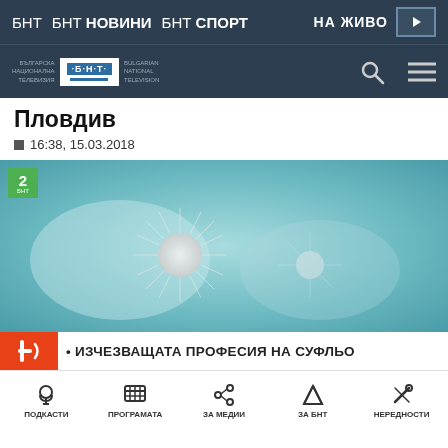БНТ  БНТ НОВИНИ  БНТ СПОРТ  НА ЖИВО
[Figure (logo): BNT Bulgarian National Television logo with search and menu icons]
Пловдив
16:38, 15.03.2018
[Figure (photo): Video still showing dandelion seeds with teal/turquoise background, BNT 2 channel badge in top-left corner]
• ИЗЧЕЗВАЩАТА ПРОФЕСИЯ НА СУФЛЬО
ПОДКАСТИ  ПРОГРАМАТА  ЗА МЕДИИ  ЗА БНТ  НЕРЕДНОСТИ